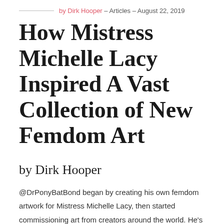by Dirk Hooper – Articles – August 22, 2019
How Mistress Michelle Lacy Inspired A Vast Collection of New Femdom Art
by Dirk Hooper
@DrPonyBatBond began by creating his own femdom artwork for Mistress Michelle Lacy, then started commissioning art from creators around the world. He's been responsible for bringing a